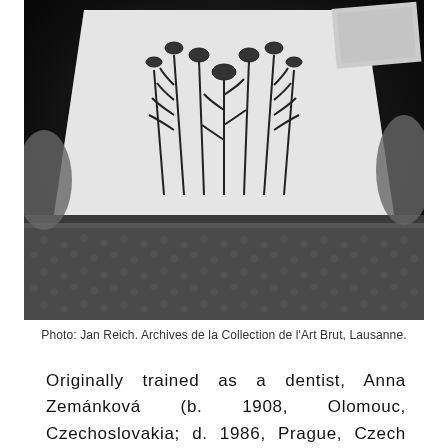[Figure (photo): Black and white photograph of a person holding a detailed botanical drawing on paper, showing intricate plant/fern illustrations. The image is high contrast with dark background and textured foreground elements.]
Photo: Jan Reich. Archives de la Collection de l'Art Brut, Lausanne.
Originally trained as a dentist, Anna Zemánková (b. 1908, Olomouc, Czechoslovakia; d. 1986, Prague, Czech Republic), exhibited her artwork during her lifetime in solo and group exhibitions in